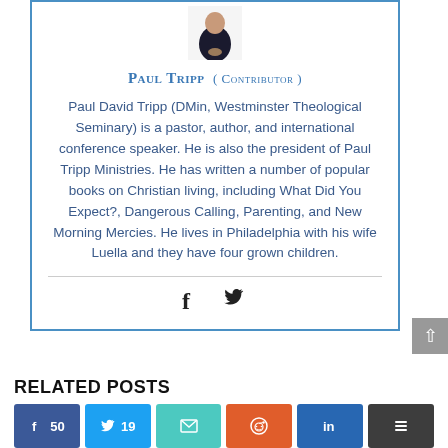[Figure (photo): Headshot photo of Paul Tripp, partially visible at top of card]
Paul Tripp  ( Contributor )
Paul David Tripp (DMin, Westminster Theological Seminary) is a pastor, author, and international conference speaker. He is also the president of Paul Tripp Ministries. He has written a number of popular books on Christian living, including What Did You Expect?, Dangerous Calling, Parenting, and New Morning Mercies. He lives in Philadelphia with his wife Luella and they have four grown children.
[Figure (infographic): Social media share icons: Facebook and Twitter]
RELATED POSTS
[Figure (infographic): Share buttons row: Facebook 50, Twitter 19, Email, Reddit, LinkedIn, Buffer]